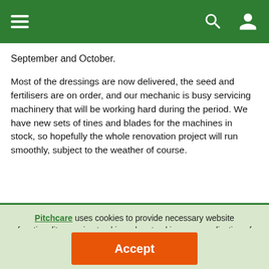[Navigation bar with hamburger menu, search icon, and user icon]
September and October.
Most of the dressings are now delivered, the seed and fertilisers are on order, and our mechanic is busy servicing machinery that will be working hard during the period. We have new sets of tines and blades for the machines in stock, so hopefully the whole renovation project will run smoothly, subject to the weather of course.
Pitchcare uses cookies to provide necessary website functionality, session tracking, shop tracking, personalisation of ads and to analyze our traffic - Learn more. By using our website, you agree to our Privacy Policy and our cookies usage.
Accept